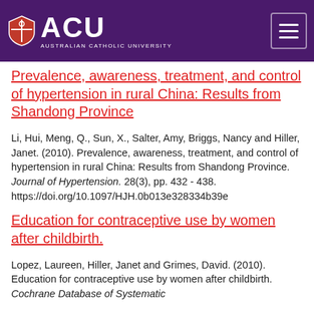ACU Australian Catholic University
Prevalence, awareness, treatment, and control of hypertension in rural China: Results from Shandong Province
Li, Hui, Meng, Q., Sun, X., Salter, Amy, Briggs, Nancy and Hiller, Janet. (2010). Prevalence, awareness, treatment, and control of hypertension in rural China: Results from Shandong Province. Journal of Hypertension. 28(3), pp. 432 - 438. https://doi.org/10.1097/HJH.0b013e328334b39e
Education for contraceptive use by women after childbirth.
Lopez, Laureen, Hiller, Janet and Grimes, David. (2010). Education for contraceptive use by women after childbirth. Cochrane Database of Systematic